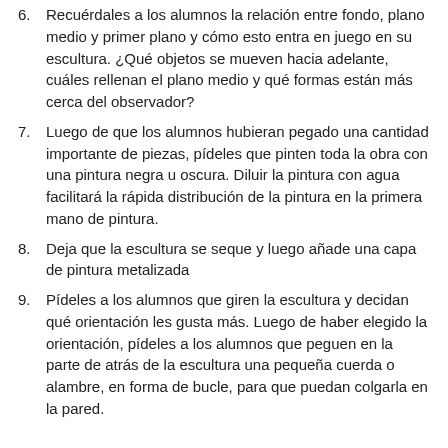6. Recuérdales a los alumnos la relación entre fondo, plano medio y primer plano y cómo esto entra en juego en su escultura. ¿Qué objetos se mueven hacia adelante, cuáles rellenan el plano medio y qué formas están más cerca del observador?
7. Luego de que los alumnos hubieran pegado una cantidad importante de piezas, pídeles que pinten toda la obra con una pintura negra u oscura. Diluir la pintura con agua facilitará la rápida distribución de la pintura en la primera mano de pintura.
8. Deja que la escultura se seque y luego añade una capa de pintura metalizada
9. Pídeles a los alumnos que giren la escultura y decidan qué orientación les gusta más. Luego de haber elegido la orientación, pídeles a los alumnos que peguen en la parte de atrás de la escultura una pequeña cuerda o alambre, en forma de bucle, para que puedan colgarla en la pared.